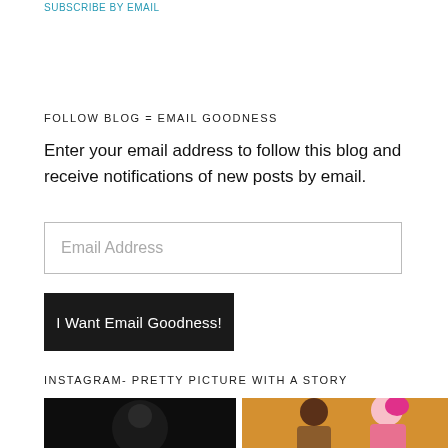SUBSCRIBE BY EMAIL
FOLLOW BLOG = EMAIL GOODNESS
Enter your email address to follow this blog and receive notifications of new posts by email.
Email Address
I Want Email Goodness!
INSTAGRAM- PRETTY PICTURE WITH A STORY
[Figure (photo): Two Instagram photos side by side: left photo shows a dark/black image, right photo shows two women, one with pink hair, against a yellow/orange background]